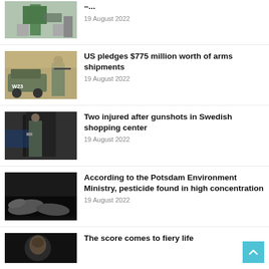[Figure (photo): Person in high-visibility vest near trash bins — partial view at top]
–...
19 August 2022
[Figure (photo): Military soldiers with armored vehicle labeled W23]
US pledges $775 million worth of arms shipments
19 August 2022
[Figure (photo): Armed police officer at shopping center entrance]
Two injured after gunshots in Swedish shopping center
19 August 2022
[Figure (photo): Dead seals or marine animals on dark wet ground]
According to the Potsdam Environment Ministry, pesticide found in high concentration
19 August 2022
[Figure (photo): Person's face in dark setting — partial bottom item]
The score comes to fiery life